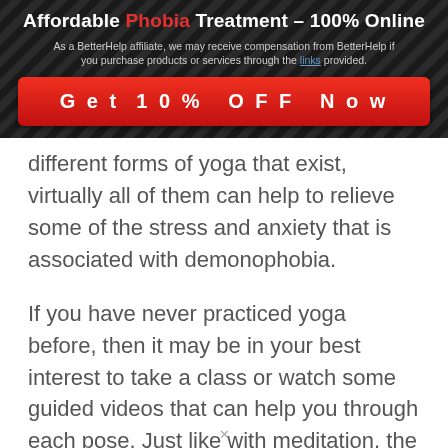Affordable Phobia Treatment – 100% Online
As a BetterHelp affiliate, we may receive compensation from BetterHelp if you purchase products or services through the links provided.
Get 10% OFF Now
different forms of yoga that exist, virtually all of them can help to relieve some of the stress and anxiety that is associated with demonophobia.
If you have never practiced yoga before, then it may be in your best interest to take a class or watch some guided videos that can help you through each pose. Just like with meditation, the